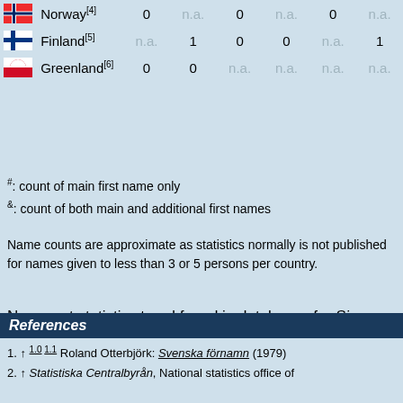| Country | Col1 | Col2 | Col3 | Col4 | Col5 | Col6 |
| --- | --- | --- | --- | --- | --- | --- |
| Norway[4] | 0 | n.a. | 0 | n.a. | 0 | n.a. |
| Finland[5] | n.a. | 1 | 0 | 0 | n.a. | 1 |
| Greenland[6] | 0 | 0 | n.a. | n.a. | n.a. | n.a. |
#: count of main first name only
&: count of both main and additional first names
Name counts are approximate as statistics normally is not published for names given to less than 3 or 5 persons per country.
No recent statistics trend found in databases for Signer.
References
1. ↑ 1.0 1.1 Roland Otterbjörk: Svenska förnamn (1979)
2. ↑ Statistiska Centralbyrån, National statistics office of